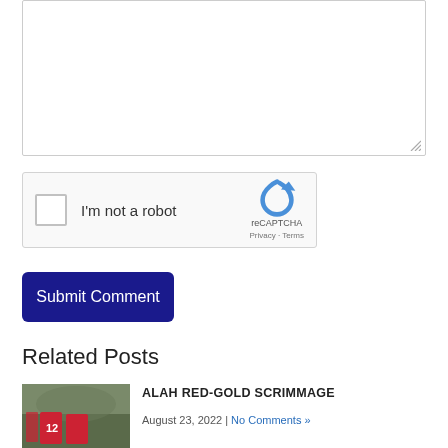[Figure (screenshot): Comment textarea input box with resize handle at bottom right]
[Figure (screenshot): reCAPTCHA widget with checkbox labeled 'I'm not a robot' and reCAPTCHA logo with Privacy and Terms links]
[Figure (screenshot): Submit Comment button, dark navy blue rounded rectangle]
Related Posts
[Figure (photo): Football players in red uniforms, number 12 visible, outdoor scene]
ALAH RED-GOLD SCRIMMAGE
August 23, 2022 | No Comments »